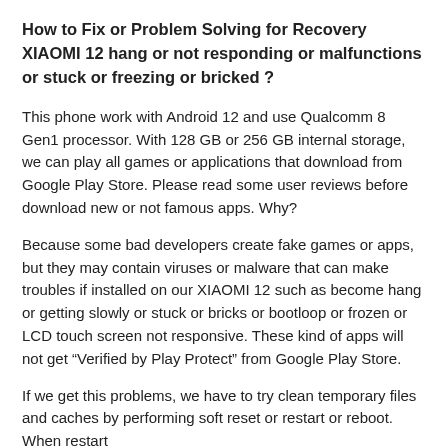How to Fix or Problem Solving for Recovery XIAOMI 12 hang or not responding or malfunctions or stuck or freezing or bricked ?
This phone work with Android 12 and use Qualcomm 8 Gen1 processor. With 128 GB or 256 GB internal storage, we can play all games or applications that download from Google Play Store. Please read some user reviews before download new or not famous apps. Why?
Because some bad developers create fake games or apps, but they may contain viruses or malware that can make troubles if installed on our XIAOMI 12 such as become hang or getting slowly or stuck or bricks or bootloop or frozen or LCD touch screen not responsive. These kind of apps will not get “Verified by Play Protect” from Google Play Store.
If we get this problems, we have to try clean temporary files and caches by performing soft reset or restart or reboot. When restart